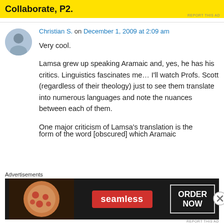[Figure (screenshot): Yellow advertisement banner with bold black text 'Collaborate, P2.']
Christian S. on December 1, 2009 at 2:09 am

Very cool.

Lamsa grew up speaking Aramaic and, yes, he has his critics. Linguistics fascinates me… I'll watch Profs. Scott (regardless of their theology) just to see them translate into numerous languages and note the nuances between each of them.

One major criticism of Lamsa's translation is the form of the word [obscured] which Aramaic
[Figure (screenshot): Seamless food delivery advertisement banner with pizza image, red Seamless logo badge, and ORDER NOW button]